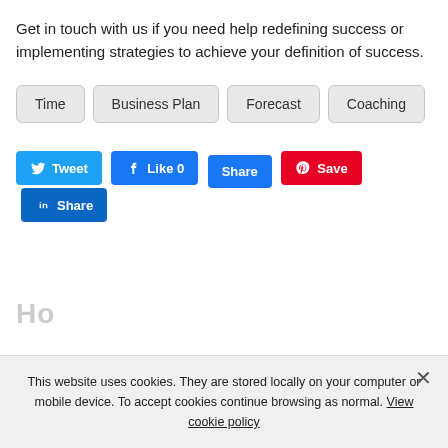Get in touch with us if you need help redefining success or implementing strategies to achieve your definition of success.
Time
Business Plan
Forecast
Coaching
Tweet | Like 0 | Share | Save | Share
Home
This website uses cookies. They are stored locally on your computer or mobile device. To accept cookies continue browsing as normal. View cookie policy